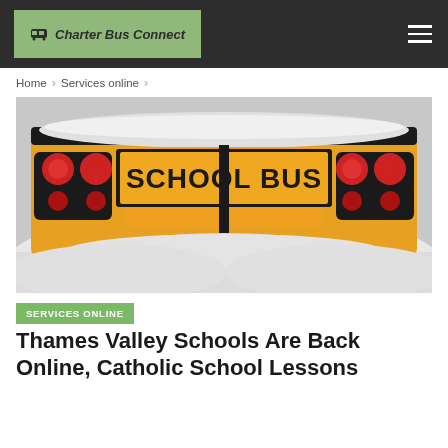Charter Bus Connect
Home > Services online >
[Figure (photo): Rear view of a yellow school bus covered in snow with 'SCHOOL BUS' text visible on the back panel, red tail lights on both sides]
SERVICES ONLINE
Thames Valley Schools Are Back Online, Catholic School Lessons